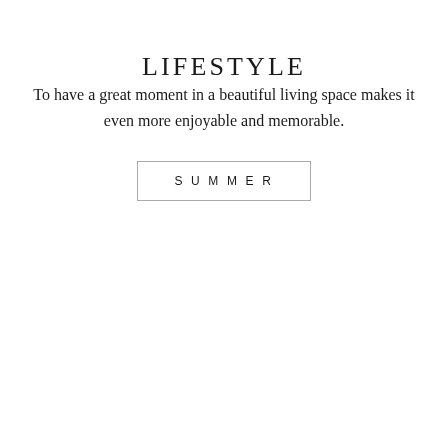LIFESTYLE
To have a great moment in a beautiful living space makes it even more enjoyable and memorable.
SUMMER